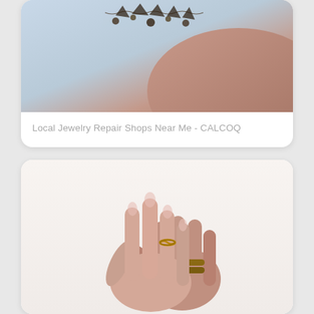[Figure (photo): Top portion of a card showing jewelry (necklace with charms) against a light blue/skin tone background. Part of a woman's shoulder visible.]
Local Jewelry Repair Shops Near Me - CALCOQ
[Figure (photo): Two female hands placed together, wearing gold rings including a chain-link ring and a thick band ring, against a white background.]